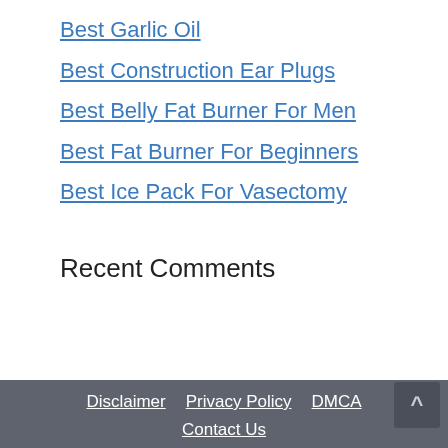Best Garlic Oil
Best Construction Ear Plugs
Best Belly Fat Burner For Men
Best Fat Burner For Beginners
Best Ice Pack For Vasectomy
Recent Comments
Disclaimer | Privacy Policy | DMCA | Contact Us